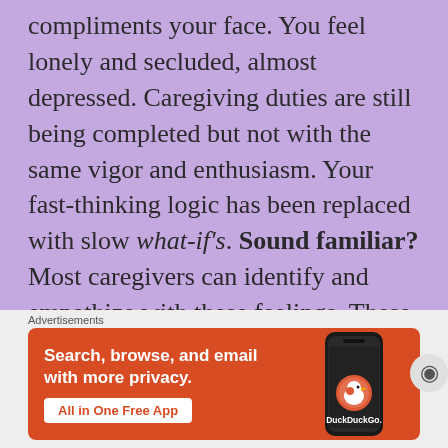compliments your face. You feel lonely and secluded, almost depressed. Caregiving duties are still being completed but not with the same vigor and enthusiasm. Your fast-thinking logic has been replaced with slow what-if's. Sound familiar? Most caregivers can identify and empathize with these feelings. These mixed emotions are warning signs of caregiver stress. Ignoring these symptoms will result in caregiver burnout.
[Figure (other): DuckDuckGo advertisement banner showing a smartphone with DuckDuckGo duck logo, text 'Search, browse, and email with more privacy.' and button 'All in One Free App']